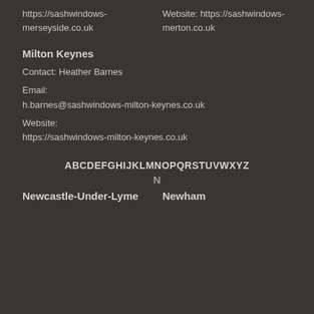https://sashwindows-merseyside.co.uk
Website: https://sashwindows-merton.co.uk
Milton Keynes
Contact: Heather Barnes
Email: h.barnes@sashwindows-milton-keynes.co.uk
Website: https://sashwindows-milton-keynes.co.uk
ABCDEFGHIJKLMNOPQRSTUVWXYZ
N
Newcastle-Under-Lyme
Newham